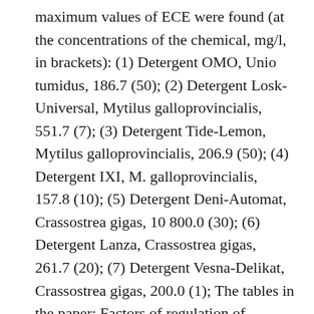maximum values of ECE were found (at the concentrations of the chemical, mg/l, in brackets): (1) Detergent OMO, Unio tumidus, 186.7 (50); (2) Detergent Losk-Universal, Mytilus galloprovincialis, 551.7 (7); (3) Detergent Tide-Lemon, Mytilus galloprovincialis, 206.9 (50); (4) Detergent IXI, M. galloprovincialis, 157.8 (10); (5) Detergent Deni-Automat, Crassostrea gigas, 10 800.0 (30); (6) Detergent Lanza, Crassostrea gigas, 261.7 (20); (7) Detergent Vesna-Delikat, Crassostrea gigas, 200.0 (1); The tables in the paper: Factors of regulation of unicellular plankton abundance (Tab.1); effects of surfactants and detergents on